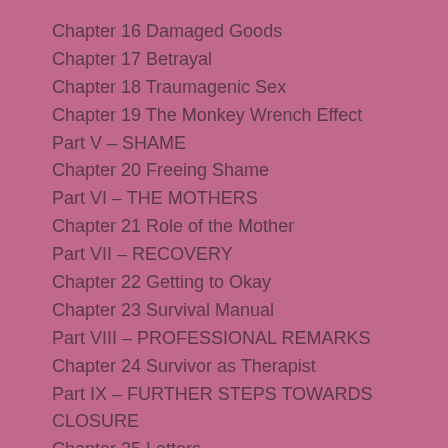Chapter 16 Damaged Goods
Chapter 17 Betrayal
Chapter 18 Traumagenic Sex
Chapter 19 The Monkey Wrench Effect
Part V – SHAME
Chapter 20 Freeing Shame
Part VI – THE MOTHERS
Chapter 21 Role of the Mother
Part VII – RECOVERY
Chapter 22 Getting to Okay
Chapter 23 Survival Manual
Part VIII – PROFESSIONAL REMARKS
Chapter 24 Survivor as Therapist
Part IX – FURTHER STEPS TOWARDS CLOSURE
Chapter 25 Letters
Chapter 26 Gestalt Goodbye to My Father and Epilogue
References
THE AUTHOR'S DREAM JOURNAL AND DIARY
Illustrations